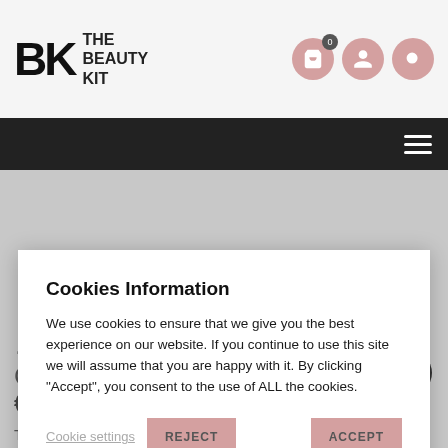[Figure (logo): The Beauty Kit logo with BK monogram and text]
[Figure (screenshot): Navigation bar with hamburger menu icon on dark background]
Bright Berry Crystal Matte Top Coat
€16.00
Tag: manicure set
Cookies Information
We use cookies to ensure that we give you the best experience on our website. If you continue to use this site we will assume that you are happy with it. By clicking "Accept", you consent to the use of ALL the cookies.
Cookie settings
REJECT
ACCEPT